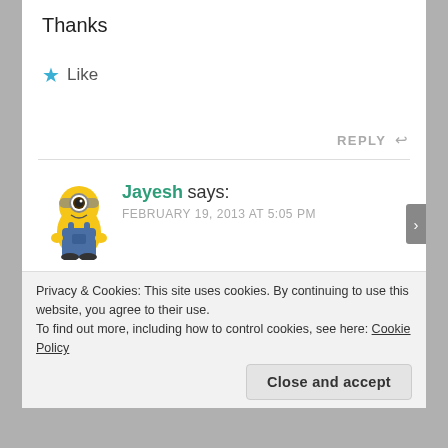Thanks
★ Like
REPLY ↩
[Figure (illustration): Minion cartoon avatar image (yellow character from Despicable Me)]
Jayesh says:
FEBRUARY 19, 2013 AT 5:05 PM
If you are looking for an array which has an one-to-one correspondance to the tree then that will be difficult as there are different strategies...
Privacy & Cookies: This site uses cookies. By continuing to use this website, you agree to their use.
To find out more, including how to control cookies, see here: Cookie Policy
Close and accept